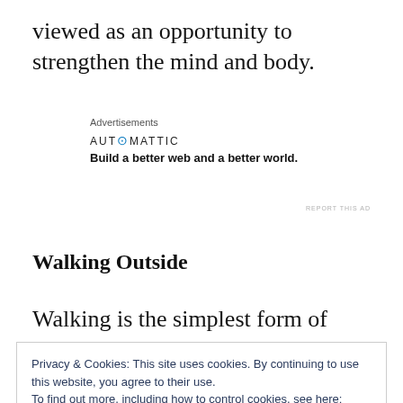viewed as an opportunity to strengthen the mind and body.
Advertisements
AUTOMATTIC
Build a better web and a better world.
REPORT THIS AD
Walking Outside
Walking is the simplest form of exercise there
Privacy & Cookies: This site uses cookies. By continuing to use this website, you agree to their use.
To find out more, including how to control cookies, see here: Cookie Policy
Close and accept
A walk outside promotes more physical activity